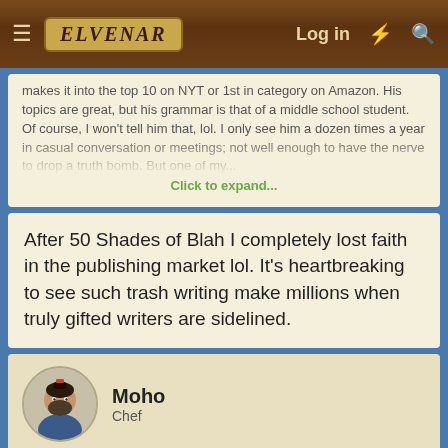ELVENAR — Log in
makes it into the top 10 on NYT or 1st in category on Amazon. His topics are great, but his grammar is that of a middle school student. Of course, I won't tell him that, lol. I only see him a dozen times a year in casual conversation or meetings; not well enough to have the nerve to drop a truth bomb. But one of my... Click to expand...
After 50 Shades of Blah I completely lost faith in the publishing market lol. It's heartbreaking to see such trash writing make millions when truly gifted writers are sidelined.
Moho
Chef
Mar 5, 2022  #26
Eudaemonia said: ↑
It's heartbreaking to see such trash writing make millions when truly gifted writers are sidelined.
It's not much different in music, or art.